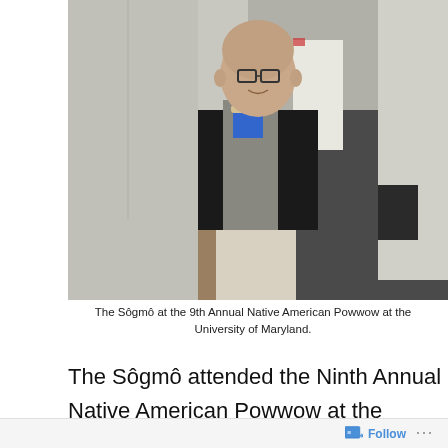[Figure (photo): A person with glasses and a shaved head wearing a dark jacket over a blue shirt and light pants, standing in an indoor hallway with white paneled walls and dark carpet.]
The Sôgmô at the 9th Annual Native American Powwow at the University of Maryland.
The Sôgmô attended the Ninth Annual Native American Powwow at the University of Maryland,